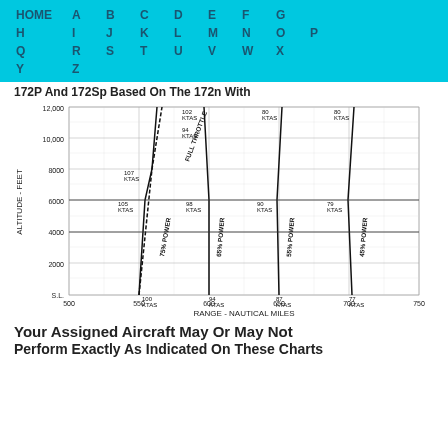HOME A B C D E F G H I J K L M N O P Q R S T U V W X Y Z
172P And 172Sp Based On The 172n With
[Figure (continuous-plot): Range vs Altitude chart for aircraft. X-axis: Range - Nautical Miles (500-750). Y-axis: Altitude - Feet (S.L. to 12,000). Multiple power curves: Full Throttle, 75% Power (100 KTAS SL, 105 KTAS 6000, 107 KTAS 8000, 102 KTAS 12000), 65% Power (94 KTAS SL, 98 KTAS 6000, 94 KTAS 12000), 55% Power (87 KTAS SL, 90 KTAS 6000, 80 KTAS 12000), 45% Power (77 KTAS SL, 79 KTAS 6000, 80 KTAS 12000).]
Your Assigned Aircraft May Or May Not
Perform Exactly As Indicated On These Charts